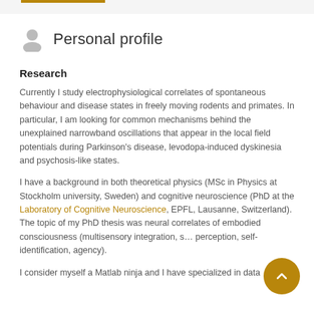Personal profile
Research
Currently I study electrophysiological correlates of spontaneous behaviour and disease states in freely moving rodents and primates. In particular, I am looking for common mechanisms behind the unexplained narrowband oscillations that appear in the local field potentials during Parkinson’s disease, levodopa-induced dyskinesia and psychosis-like states.
I have a background in both theoretical physics (MSc in Physics at Stockholm university, Sweden) and cognitive neuroscience (PhD at the Laboratory of Cognitive Neuroscience, EPFL, Lausanne, Switzerland). The topic of my PhD thesis was neural correlates of embodied consciousness (multisensory integration, s… perception, self-identification, agency).
I consider myself a Matlab ninja and I have specialized in data